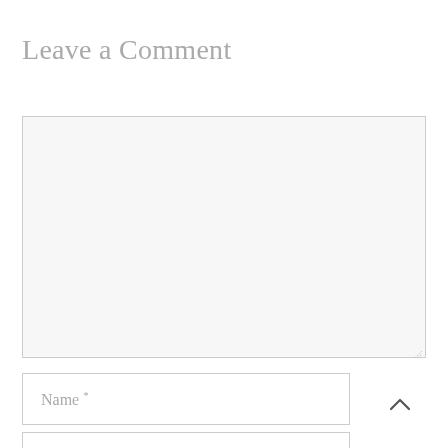Leave a Comment
[Figure (screenshot): Empty comment textarea form field with light gray background and thin border, with a resize handle in the bottom-right corner]
Name *
Email *